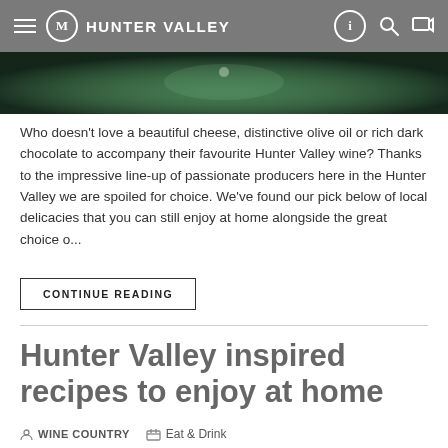HUNTER VALLEY
[Figure (photo): Close-up photo of food/produce with dark green background]
Who doesn't love a beautiful cheese, distinctive olive oil or rich dark chocolate to accompany their favourite Hunter Valley wine? Thanks to the impressive line-up of passionate producers here in the Hunter Valley we are spoiled for choice. We've found our pick below of local delicacies that you can still enjoy at home alongside the great choice o...
CONTINUE READING
Hunter Valley inspired recipes to enjoy at home
WINE COUNTRY  Eat & Drink
[Figure (photo): Close-up photo of food dish, warm earthy tones]